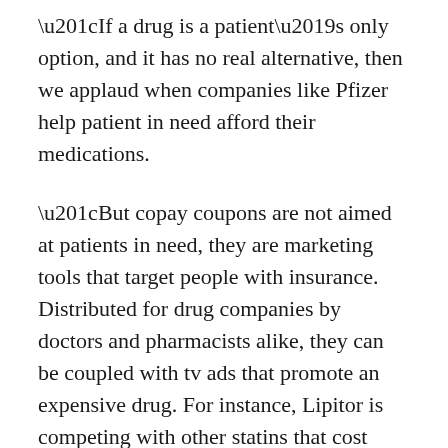“If a drug is a patient’s only option, and it has no real alternative, then we applaud when companies like Pfizer help patient in need afford their medications.
“But copay coupons are not aimed at patients in need, they are marketing tools that target people with insurance. Distributed for drug companies by doctors and pharmacists alike, they can be coupled with tv ads that promote an expensive drug. For instance, Lipitor is competing with other statins that cost one-fifth to one tenth as much. In fact some statins (like lovastatin, pravastatin) are so inexpensive you can get them for $4 without any